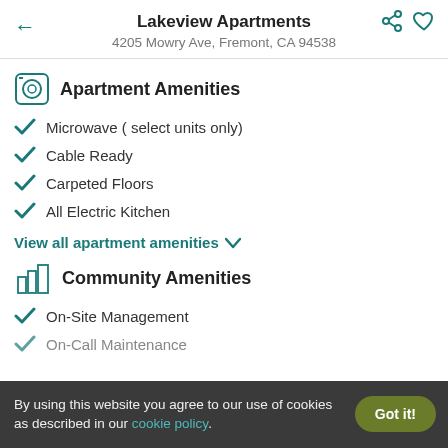Lakeview Apartments
4205 Mowry Ave, Fremont, CA 94538
Apartment Amenities
Microwave ( select units only)
Cable Ready
Carpeted Floors
All Electric Kitchen
View all apartment amenities ∨
Community Amenities
On-Site Management
On-Call Maintenance
By using this website you agree to our use of cookies as described in our cookie policy.